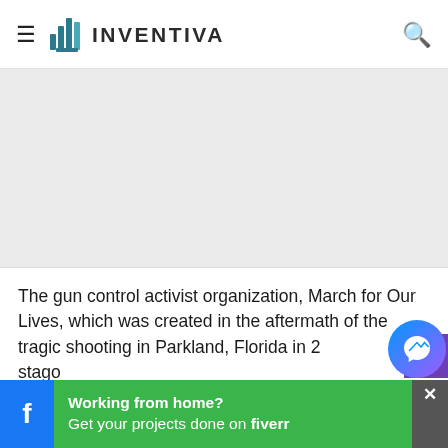[Figure (logo): Inventiva logo with stylized bar chart icon and text INVENTIVA in uppercase]
[Figure (photo): Large image area (gray placeholder) related to March for Our Lives article]
The gun control activist organization, March for Our Lives, which was created in the aftermath of the tragic shooting in Parkland, Florida in 2... stago...
[Figure (infographic): Green advertisement banner: Working from home? Get your projects done on fiverr, with Facebook icon on left and close button on right]